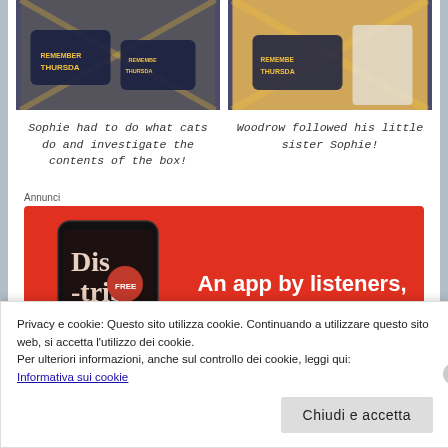[Figure (photo): Two side-by-side photos of cats with 'Remember Thursday' merchandise/packaging]
Sophie had to do what cats do and investigate the contents of the box!
Woodrow followed his little sister Sophie!
[Figure (screenshot): Advertisement banner with red background showing a phone app with text 'An app by listeners, for listeners.' and app named 'Dis-trib-ted']
Privacy e cookie: Questo sito utilizza cookie. Continuando a utilizzare questo sito web, si accetta l'utilizzo dei cookie.
Per ulteriori informazioni, anche sul controllo dei cookie, leggi qui:
Informativa sui cookie
Chiudi e accetta